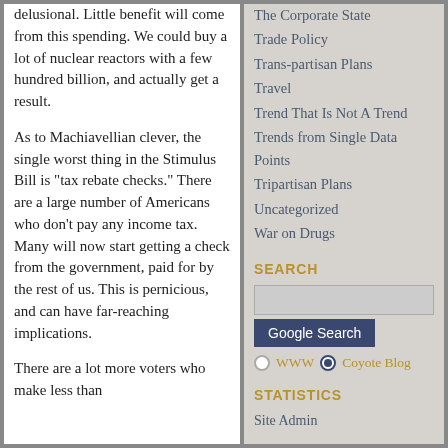delusional. Little benefit will come from this spending. We could buy a lot of nuclear reactors with a few hundred billion, and actually get a result.
As to Machiavellian clever, the single worst thing in the Stimulus Bill is "tax rebate checks." There are a large number of Americans who don't pay any income tax. Many will now start getting a check from the government, paid for by the rest of us. This is pernicious, and can have far-reaching implications.
There are a lot more voters who make less than
The Corporate State
Trade Policy
Trans-partisan Plans
Travel
Trend That Is Not A Trend
Trends from Single Data Points
Tripartisan Plans
Uncategorized
War on Drugs
SEARCH
STATISTICS
Site Admin